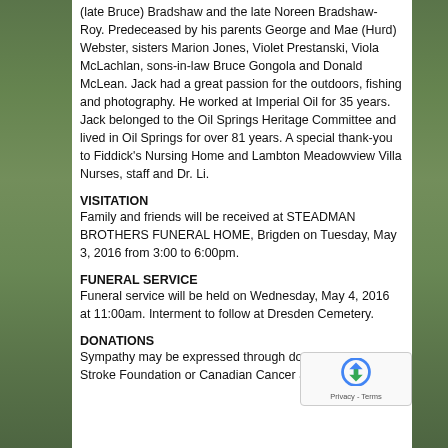(late Bruce) Bradshaw and the late Noreen Bradshaw-Roy. Predeceased by his parents George and Mae (Hurd) Webster, sisters Marion Jones, Violet Prestanski, Viola McLachlan, sons-in-law Bruce Gongola and Donald McLean. Jack had a great passion for the outdoors, fishing and photography. He worked at Imperial Oil for 35 years. Jack belonged to the Oil Springs Heritage Committee and lived in Oil Springs for over 81 years. A special thank-you to Fiddick's Nursing Home and Lambton Meadowview Villa Nurses, staff and Dr. Li.
VISITATION
Family and friends will be received at STEADMAN BROTHERS FUNERAL HOME, Brigden on Tuesday, May 3, 2016 from 3:00 to 6:00pm.
FUNERAL SERVICE
Funeral service will be held on Wednesday, May 4, 2016 at 11:00am. Interment to follow at Dresden Cemetery.
DONATIONS
Sympathy may be expressed through donations to Heart & Stroke Foundation or Canadian Cancer Society